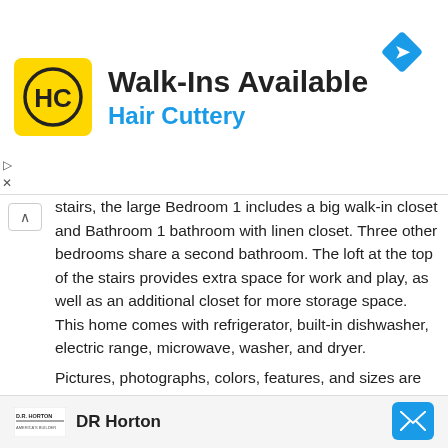[Figure (logo): Hair Cuttery advertisement banner with HC logo in yellow square, 'Walk-Ins Available' heading, 'Hair Cuttery' subtitle in blue, and navigation arrow icon]
stairs, the large Bedroom 1 includes a big walk-in closet and Bathroom 1 bathroom with linen closet. Three other bedrooms share a second bathroom. The loft at the top of the stairs provides extra space for work and play, as well as an additional closet for more storage space. This home comes with refrigerator, built-in dishwasher, electric range, microwave, washer, and dryer.
Pictures, photographs, colors, features, and sizes are for illustration purposes only and will vary from the homes as built. Home and community information including pricing, included features, terms, availability and amenities are subject to change and prior sale at any time without notice or obligation. CBC039052.
[Figure (logo): DR Horton logo with text 'DR Horton' and envelope/mail button in blue]